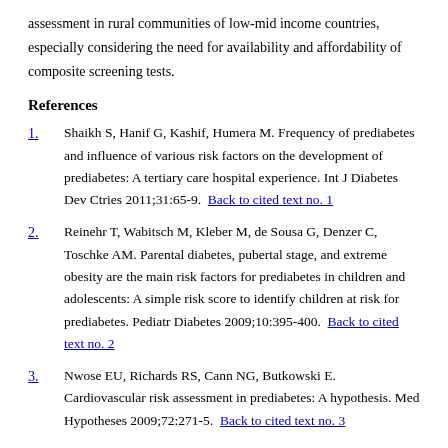assessment in rural communities of low-mid income countries, especially considering the need for availability and affordability of composite screening tests.
References
1. Shaikh S, Hanif G, Kashif, Humera M. Frequency of prediabetes and influence of various risk factors on the development of prediabetes: A tertiary care hospital experience. Int J Diabetes Dev Ctries 2011;31:65-9. Back to cited text no. 1
2. Reinehr T, Wabitsch M, Kleber M, de Sousa G, Denzer C, Toschke AM. Parental diabetes, pubertal stage, and extreme obesity are the main risk factors for prediabetes in children and adolescents: A simple risk score to identify children at risk for prediabetes. Pediatr Diabetes 2009;10:395-400. Back to cited text no. 2
3. Nwose EU, Richards RS, Cann NG, Butkowski E. Cardiovascular risk assessment in prediabetes: A hypothesis. Med Hypotheses 2009;72:271-5. Back to cited text no. 3
4. New Zealand Guidelines Group. New Zealand cardiovascular risk charts 2nd ed. 2009. (Accessed April 24, 2014, at http://www.health.govt.nz/publication/new-